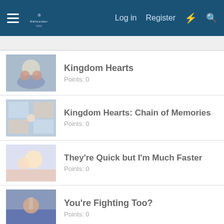Log in  Register
Kingdom Hearts
Points: 0
Kingdom Hearts: Chain of Memories
Points: 0
They're Quick but I'm Much Faster
Points: 0
You're Fighting Too?
Points: 0
Kingdom Hearts II
Points: 0